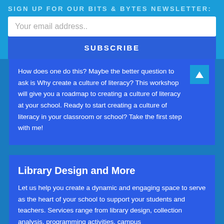SIGN UP FOR OUR BITS & BYTES NEWSLETTER:
Your email address..
SUBSCRIBE
How does one do this? Maybe the better question to ask is Why create a culture of literacy? This workshop will give you a roadmap to creating a culture of literacy at your school. Ready to start creating a culture of literacy in your classroom or school? Take the first step with me!
Library Design and More
Let us help you create a dynamic and engaging space to serve as the heart of your school to support your students and teachers. Services range from library design, collection analysis, programming activities, campus